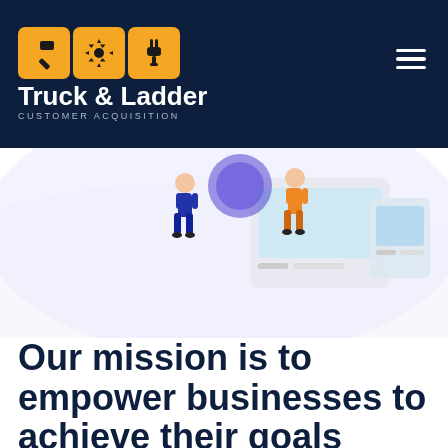[Figure (logo): Truck & Ladder Customer Acquisition logo with three orange square icons (hammer, gear, plug) on dark navy background header]
[Figure (illustration): Hero illustration showing two people figures next to a large device/screen with geometric shapes on a light purple/white background]
Our mission is to empower businesses to achieve their goals
We believe the right tools and automation can help improve